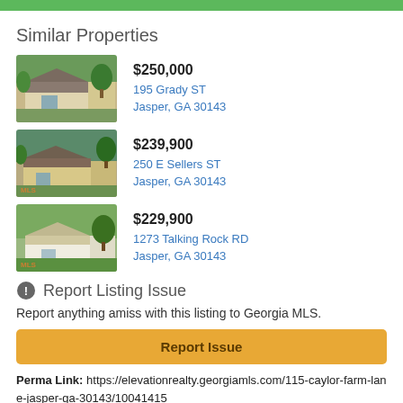Similar Properties
[Figure (photo): House photo - 195 Grady ST, Jasper GA, ranch style home with green trees, $250,000]
$250,000
195 Grady ST
Jasper, GA 30143
[Figure (photo): House photo - 250 E Sellers ST, Jasper GA, ranch style home with trees, $239,900]
$239,900
250 E Sellers ST
Jasper, GA 30143
[Figure (photo): House photo - 1273 Talking Rock RD, Jasper GA, white house with green lawn, $229,900]
$229,900
1273 Talking Rock RD
Jasper, GA 30143
Report Listing Issue
Report anything amiss with this listing to Georgia MLS.
Report Issue
Perma Link: https://elevationrealty.georgiamls.com/115-caylor-farm-lane-jasper-ga-30143/10041415